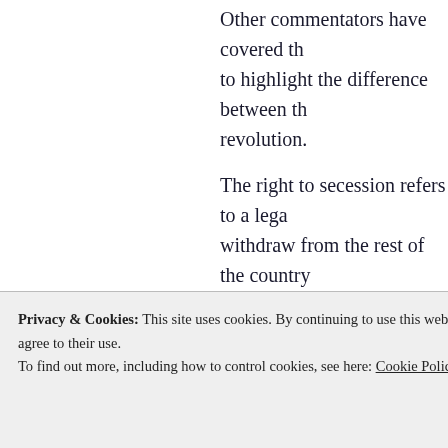Other commentators have covered this to highlight the difference between the revolution.
The right to secession refers to a legal withdraw from the rest of the country. The legality of secession thus depends desires to withdraw from. For example Revolution, the colonies had no legal because British common law doesn't the question of whether the Confedera secede depends on the United States C why the Confederate states did not ha Lincoln's first inaugural address or Cl
Privacy & Cookies: This site uses cookies. By continuing to use this website, you agree to their use.
To find out more, including how to control cookies, see here: Cookie Policy